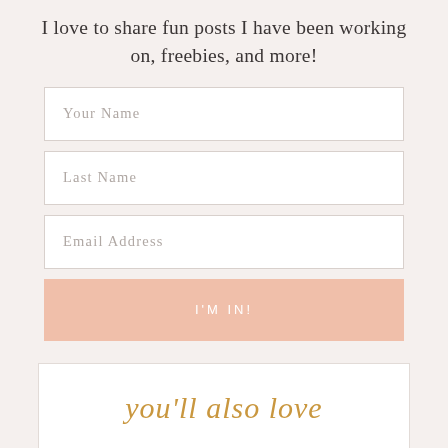I love to share fun posts I have been working on, freebies, and more!
[Figure (other): Newsletter signup form with fields for Your Name, Last Name, Email Address, and a peach-colored I'M IN! submit button]
you'll also love